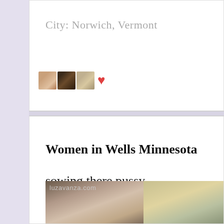City: Norwich, Vermont
[Figure (photo): Three small thumbnail photos and a red heart icon]
Women in Wells Minnesota sowing there pussy.
[Figure (photo): Photo of two women, watermarked luzavanza.com]